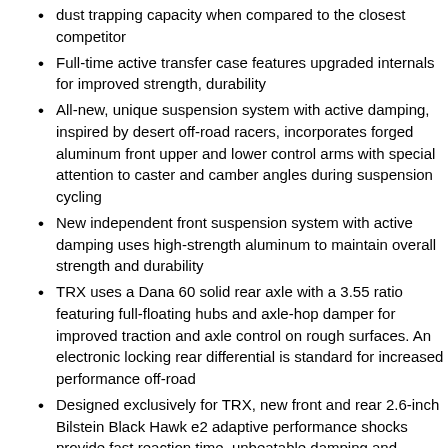dust trapping capacity when compared to the closest competitor
Full-time active transfer case features upgraded internals for improved strength, durability
All-new, unique suspension system with active damping, inspired by desert off-road racers, incorporates forged aluminum front upper and lower control arms with special attention to caster and camber angles during suspension cycling
New independent front suspension system with active damping uses high-strength aluminum to maintain overall strength and durability
TRX uses a Dana 60 solid rear axle with a 3.55 ratio featuring full-floating hubs and axle-hop damper for improved traction and axle control on rough surfaces. An electronic locking rear differential is standard for increased performance off-road
Designed exclusively for TRX, new front and rear 2.6-inch Bilstein Black Hawk e2 adaptive performance shocks provide fast reaction time, unbeatable damping and improved heat dissipation for traversing harsh terrain at speeds greater than 100 mph
Five-link coil suspension is tuned to deliver the best combination of ride, handling and comfort no matter the road